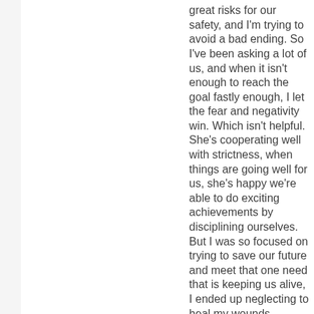great risks for our safety, and I'm trying to avoid a bad ending. So I've been asking a lot of us, and when it isn't enough to reach the goal fastly enough, I let the fear and negativity win. Which isn't helpful. She's cooperating well with strictness, when things are going well for us, she's happy we're able to do exciting achievements by disciplining ourselves. But I was so focused on trying to save our future and meet that one need that is keeping us alive, I ended up neglecting to heal my wounds, neglecting to allow myself to live outside of this safe space. And she